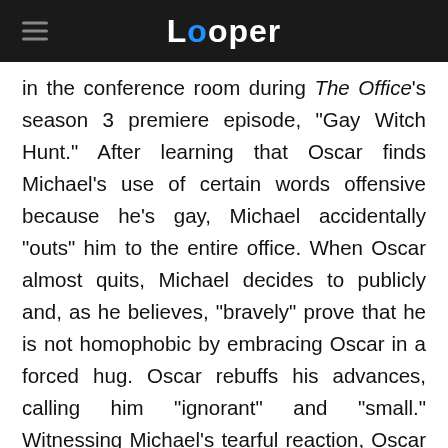Looper
in the conference room during The Office's season 3 premiere episode, "Gay Witch Hunt." After learning that Oscar finds Michael's use of certain words offensive because he's gay, Michael accidentally "outs" him to the entire office. When Oscar almost quits, Michael decides to publicly and, as he believes, "bravely" prove that he is not homophobic by embracing Oscar in a forced hug. Oscar rebuffs his advances, calling him "ignorant" and "small." Witnessing Michael's tearful reaction, Oscar attempts to reconcile with another hug, but Michael decides to "raise the stakes."